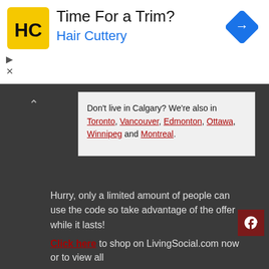[Figure (screenshot): Hair Cuttery advertisement banner with logo, 'Time For a Trim?' headline, blue 'Hair Cuttery' text, and blue navigation diamond icon on the right.]
Don't live in Calgary? We're also in Toronto, Vancouver, Edmonton, Ottawa, Winnipeg and Montreal.
Hurry, only a limited amount of people can use the code so take advantage of the offer while it lasts!
Click here to shop on LivingSocial.com now or to view all